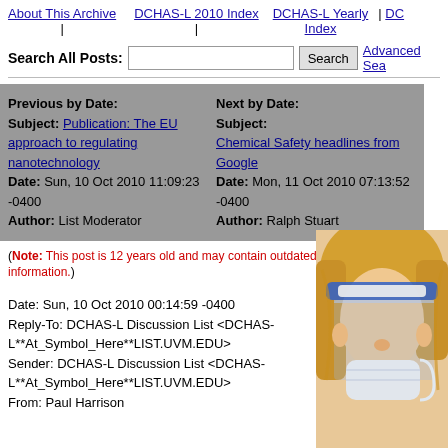About This Archive | DCHAS-L 2010 Index | DCHAS-L Yearly Index | DC...
Search All Posts: [input] Search Advanced Sea...
Previous by Date:
Subject: Publication: The EU approach to regulating nanotechnology
Date: Sun, 10 Oct 2010 11:09:23 -0400
Author: List Moderator
Next by Date:
Subject: Chemical Safety headlines from Google
Date: Mon, 11 Oct 2010 07:13:52 -0400
Author: Ralph Stuart
(Note: This post is 12 years old and may contain outdated information.)
Date: Sun, 10 Oct 2010 00:14:59 -0400
Reply-To: DCHAS-L Discussion List <DCHAS-L**At_Symbol_Here**LIST.UVM.EDU>
Sender: DCHAS-L Discussion List <DCHAS-L**At_Symbol_Here**LIST.UVM.EDU>
From: Paul Harrison
[Figure (photo): Photo of a person wearing a face shield and mask, shown from the side/front, with blonde hair.]